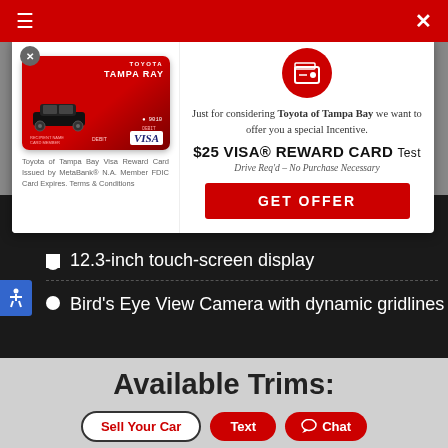[Figure (screenshot): Red navigation bar with hamburger menu icon on left and X close button on right]
[Figure (screenshot): Modal popup with Toyota of Tampa Bay Visa Reward Card offer. Left panel shows a red Visa debit card image with Toyota Tampa Ray branding and a car graphic. Right panel has a wallet icon, text offering $25 VISA REWARD CARD, Drive Req'd - No Purchase Necessary, and a red GET OFFER button.]
Just for considering Toyota of Tampa Bay we want to offer you a special Incentive.
$25 VISA® REWARD CARD Test
Drive Req'd - No Purchase Necessary
Toyota of Tampa Bay Visa Reward Card Issued by MetaBank® N.A. Member FDIC Card Expires. Terms & Conditions
12.3-inch touch-screen display
Bird's Eye View Camera with dynamic gridlines
Available Trims:
L
Sell Your Car
Text
Chat